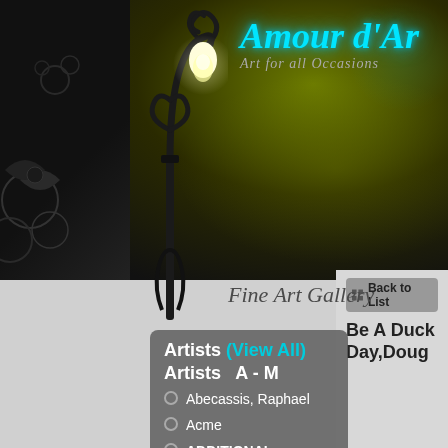[Figure (screenshot): Website header with decorative dark background, olive/yellow gradient, swirling floral decorations, and a streetlamp illustration on the left.]
Amour d'Art  Art for all Occasions
Fine Art Gallery
Back to List
Be A Duck Day,Doug
Artists (View All)
Artists  A - M
Abecassis, Raphael
Acme
ADDITIONAL SHIPPING CHARGES
Afremov, Leonid 1955-2019